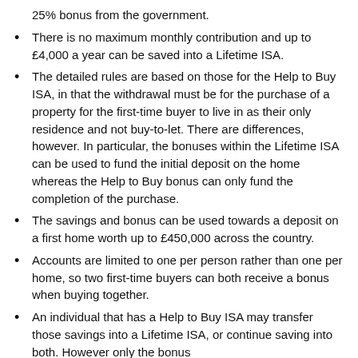25% bonus from the government.
There is no maximum monthly contribution and up to £4,000 a year can be saved into a Lifetime ISA.
The detailed rules are based on those for the Help to Buy ISA, in that the withdrawal must be for the purchase of a property for the first-time buyer to live in as their only residence and not buy-to-let. There are differences, however. In particular, the bonuses within the Lifetime ISA can be used to fund the initial deposit on the home whereas the Help to Buy bonus can only fund the completion of the purchase.
The savings and bonus can be used towards a deposit on a first home worth up to £450,000 across the country.
Accounts are limited to one per person rather than one per home, so two first-time buyers can both receive a bonus when buying together.
An individual that has a Help to Buy ISA may transfer those savings into a Lifetime ISA, or continue saving into both. However only the bonus